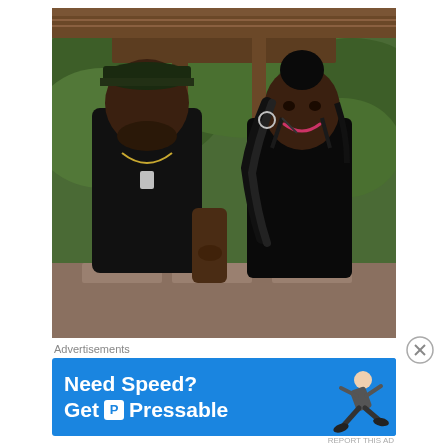[Figure (photo): Two people dressed in black clothing standing outdoors in front of a wooden pavilion structure surrounded by lush green foliage. The man on the left wears a green cap and has a beard and chain necklace. The woman on the right has braided hair in a bun and is smiling.]
Advertisements
[Figure (infographic): Advertisement banner with blue background reading 'Need Speed? Get Pressable' with a logo and an illustration of a running person.]